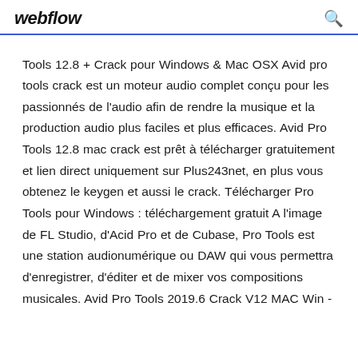webflow
Tools 12.8 + Crack pour Windows & Mac OSX Avid pro tools crack est un moteur audio complet conçu pour les passionnés de l'audio afin de rendre la musique et la production audio plus faciles et plus efficaces. Avid Pro Tools 12.8 mac crack est prêt à télécharger gratuitement et lien direct uniquement sur Plus243net, en plus vous obtenez le keygen et aussi le crack. Télécharger Pro Tools pour Windows : téléchargement gratuit A l'image de FL Studio, d'Acid Pro et de Cubase, Pro Tools est une station audionumérique ou DAW qui vous permettra d'enregistrer, d'éditer et de mixer vos compositions musicales. Avid Pro Tools 2019.6 Crack V12 MAC Win -